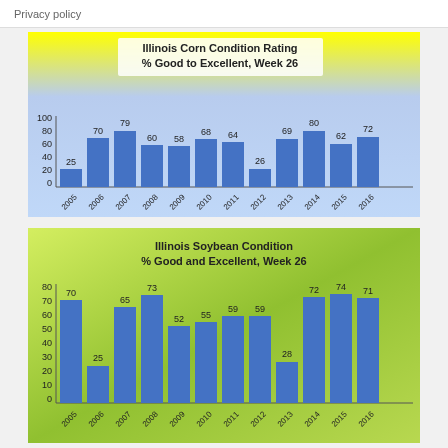Privacy policy
[Figure (bar-chart): Illinois Corn Condition Rating % Good to Excellent, Week 26]
[Figure (bar-chart): Illinois Soybean Condition % Good and Excellent, Week 26]